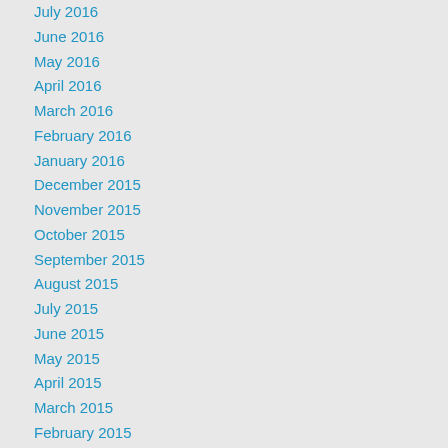July 2016
June 2016
May 2016
April 2016
March 2016
February 2016
January 2016
December 2015
November 2015
October 2015
September 2015
August 2015
July 2015
June 2015
May 2015
April 2015
March 2015
February 2015
Categories
Blog